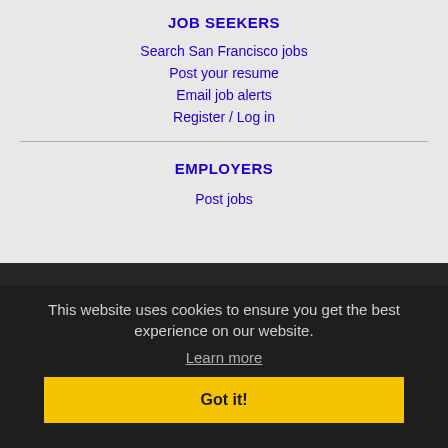JOB SEEKERS
Search San Francisco jobs
Post your resume
Email job alerts
Register / Log in
EMPLOYERS
Post jobs
Search resumes
Email resume alerts
Advertise
IMMIGRATION SPECIALISTS
Post jobs
Immigration FAQs
Learn more
This website uses cookies to ensure you get the best experience on our website.
Learn more
Got it!